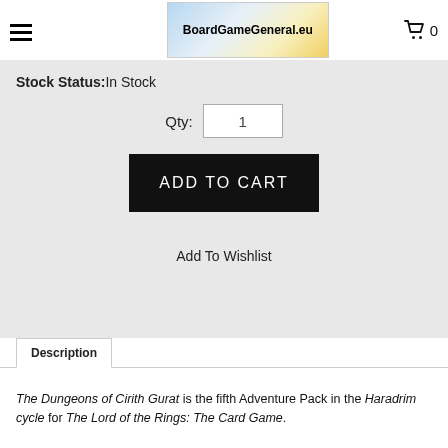BoardGameGeneral.eu
Stock Status: In Stock
Qty: 1
ADD TO CART
Add To Wishlist
Description
The Dungeons of Cirith Gurat is the fifth Adventure Pack in the Haradrim cycle for The Lord of the Rings: The Card Game.